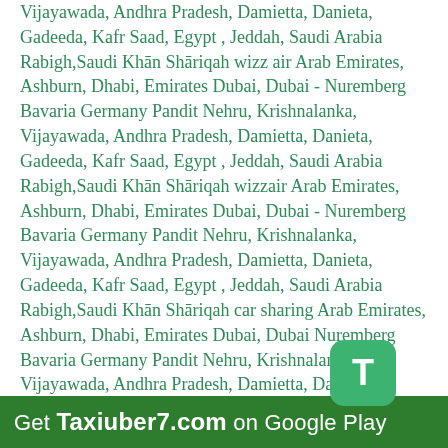Vijayawada, Andhra Pradesh, Damietta, Danieta, Gadeeda, Kafr Saad, Egypt , Jeddah, Saudi Arabia Rabigh,Saudi Khān Shāriqah wizz air Arab Emirates, Ashburn, Dhabi, Emirates Dubai, Dubai - Nuremberg Bavaria Germany Pandit Nehru, Krishnalanka, Vijayawada, Andhra Pradesh, Damietta, Danieta, Gadeeda, Kafr Saad, Egypt , Jeddah, Saudi Arabia Rabigh,Saudi Khān Shāriqah wizzair Arab Emirates, Ashburn, Dhabi, Emirates Dubai, Dubai - Nuremberg Bavaria Germany Pandit Nehru, Krishnalanka, Vijayawada, Andhra Pradesh, Damietta, Danieta, Gadeeda, Kafr Saad, Egypt , Jeddah, Saudi Arabia Rabigh,Saudi Khān Shāriqah car sharing Arab Emirates, Ashburn, Dhabi, Emirates Dubai, Dubai Nuremberg Bavaria Germany Pandit Nehru, Krishnalanka, Vijayawada, Andhra Pradesh, Damietta, Danieta, Gadeeda, Kafr Saad, Egypt , Jeddah, Saudi Arabia Rabigh,Saudi Khān Shāriqah carsharing Arab Emirates, Ashburn, Dhabi, Emirates Dubai, Dubai Nuremberg Bavaria Germany Pandit Nehru, Krishnalanka, Vijayawada, Andhra Pradesh, Damietta, Danieta, Gadeeda, Kafr Saad, Egypt , Jeddah, Saudi Arabia Rabigh,Saudi Khān Shāriqah ridesharing Arab Emirates, Ashburn, Dhabi, Emirates Dubai, Dubai - Nuremberg Bavaria Germany Pandit Nehru, Krishnalanka, Vijayawada, Andhra Pradesh, Damietta, Danieta, Gadeeda, Kafr Saad, Egypt , Jeddah, Saudi Arabia Rabigh,Saudi Khān Shāriqah ride sharing Arab Emirates, Ashburn, Dhabi, Emirates Dubai, Dubai - Nuremberg Bavaria Germany Pandit Nehru, Krishnalanka, Vijayawada, Andhra Pradesh, Damietta, Danieta, Gadeeda, Kafr Saad, Egypt , Jeddah, Saudi Arabia Rabigh,Saudi Khān Shāriqah
Get Taxiuber7.com on Google Play